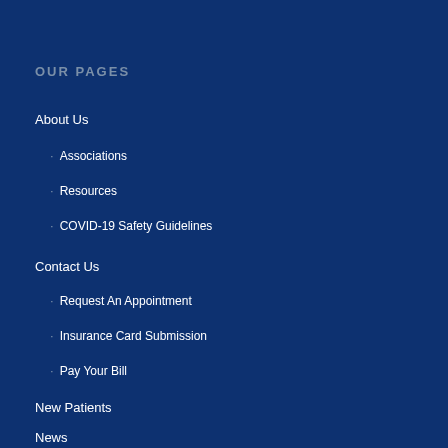OUR PAGES
About Us
Associations
Resources
COVID-19 Safety Guidelines
Contact Us
Request An Appointment
Insurance Card Submission
Pay Your Bill
New Patients
News